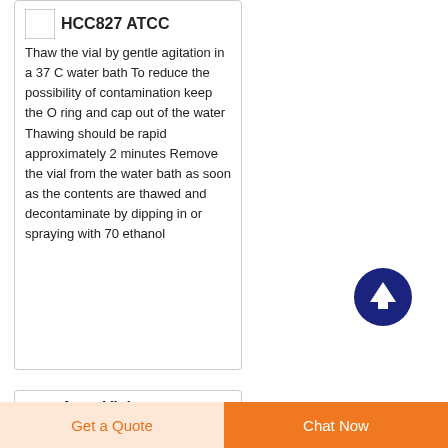HCC827 ATCC
Thaw the vial by gentle agitation in a 37 C water bath To reduce the possibility of contamination keep the O ring and cap out of the water Thawing should be rapid approximately 2 minutes Remove the vial from the water bath as soon as the contents are thawed and decontaminate by dipping in or spraying with 70 ethanol
Argo Vial Dispensing System
Get a Quote
Chat Now